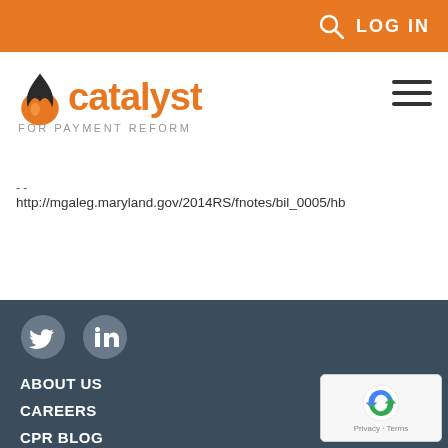LOG IN
[Figure (logo): Catalyst for Payment Reform logo with flame icon and orange text]
http://mgaleg.maryland.gov/2014RS/fnotes/bil_0005/hb
ABOUT US | CAREERS | CPR BLOG | IN THE NEWS